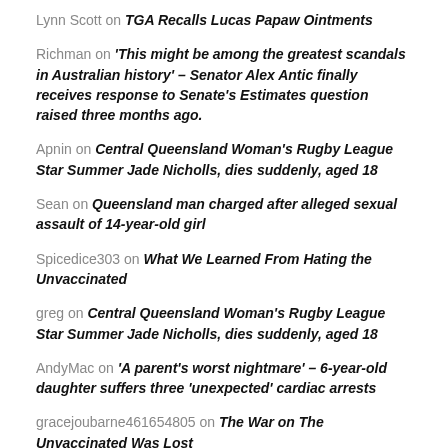Lynn Scott on TGA Recalls Lucas Papaw Ointments
Richman on 'This might be among the greatest scandals in Australian history' – Senator Alex Antic finally receives response to Senate's Estimates question raised three months ago.
Apnin on Central Queensland Woman's Rugby League Star Summer Jade Nicholls, dies suddenly, aged 18
Sean on Queensland man charged after alleged sexual assault of 14-year-old girl
Spicedice303 on What We Learned From Hating the Unvaccinated
greg on Central Queensland Woman's Rugby League Star Summer Jade Nicholls, dies suddenly, aged 18
AndyMac on 'A parent's worst nightmare' – 6-year-old daughter suffers three 'unexpected' cardiac arrests
gracejoubarne461654805 on The War on The Unvaccinated Was Lost
Abby on What We Learned From Hating the Unvaccinated